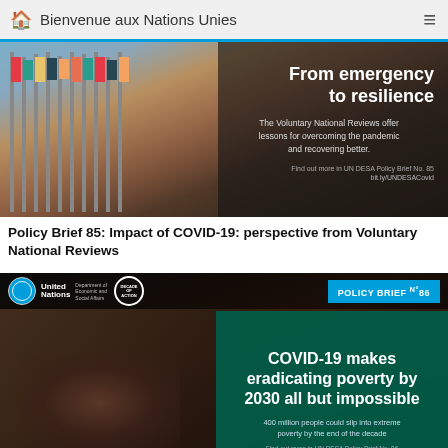Bienvenue aux Nations Unies
[Figure (photo): UN flags at headquarters with overlay text: From emergency to resilience. The Voluntary National Reviews offer lessons for overcoming the pandemic and recovering better. Find out more in UN DESA Policy Brief No. 85.]
Policy Brief 85: Impact of COVID-19: perspective from Voluntary National Reviews
[Figure (photo): Child lying ill with UN DESA Policy Brief No. 86 branding. Text overlay: COVID-19 makes eradicating poverty by 2030 all but impossible. 400 million people could slip into extreme poverty by the end of the decade. Find out more in UN DESA Policy Brief No. 86.]